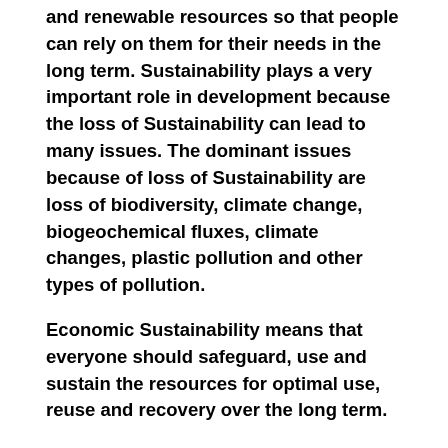and renewable resources so that people can rely on them for their needs in the long term. Sustainability plays a very important role in development because the loss of Sustainability can lead to many issues. The dominant issues because of loss of Sustainability are loss of biodiversity, climate change, biogeochemical fluxes, climate changes, plastic pollution and other types of pollution.
Economic Sustainability means that everyone should safeguard, use and sustain the resources for optimal use, reuse and recovery over the long term.
Social Sustainability means developing successful sustainable places that promote well-being by keeping in mind what people want and need from the places they work and live.